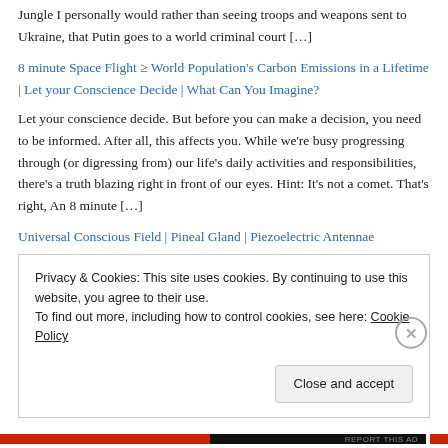Jungle I personally would rather than seeing troops and weapons sent to Ukraine, that Putin goes to a world criminal court […]
8 minute Space Flight ≥ World Population's Carbon Emissions in a Lifetime  |  Let your Conscience Decide  |  What Can You Imagine?
Let your conscience decide. But before you can make a decision, you need to be informed. After all, this affects you. While we're busy progressing through (or digressing from) our life's daily activities and responsibilities, there's a truth blazing right in front of our eyes. Hint: It's not a comet.  That's right, An 8 minute […]
Universal Conscious Field  |  Pineal Gland  |  Piezoelectric Antennae
Basically, for a long while, my mind has been beholden with 'consciousness'. Specifically, to explain synchronistic and telepathic
Privacy & Cookies: This site uses cookies. By continuing to use this website, you agree to their use.
To find out more, including how to control cookies, see here: Cookie Policy